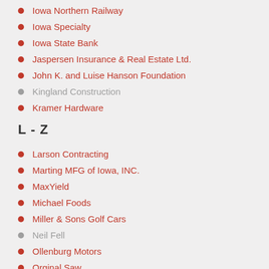Iowa Northern Railway
Iowa Specialty
Iowa State Bank
Jaspersen Insurance & Real Estate Ltd.
John K. and Luise Hanson Foundation
Kingland Construction
Kramer Hardware
L  -  Z
Larson Contracting
Marting MFG of Iowa, INC.
MaxYield
Michael Foods
Miller & Sons Golf Cars
Neil Fell
Ollenburg Motors
Orginal Saw
PMC Advantage
Plas-Tech Tooling